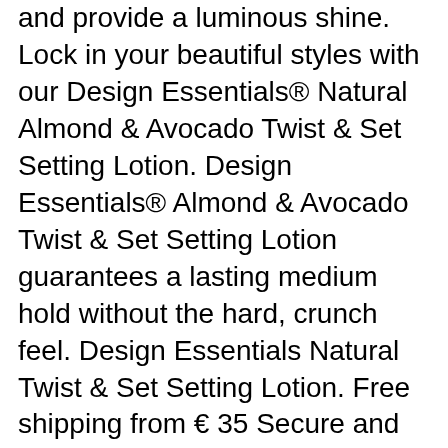and provide a luminous shine. Lock in your beautiful styles with our Design Essentials® Natural Almond & Avocado Twist & Set Setting Lotion. Design Essentials® Almond & Avocado Twist & Set Setting Lotion guarantees a lasting medium hold without the hard, crunch feel. Design Essentials Natural Twist & Set Setting Lotion. Free shipping from € 35 Secure and pay in arrears Ordered before 23:00, delivered tomorrow! I decided to try out the Design Essentials Twist and Set Lotion. Saved by E Gibson. Find the biggest selection of products from Design Essentials. Lock in your beautiful styles with our Design Essentials® Natural Almond & Avocado Twist & Set Setting Lotion. This quick drying formula provides a medium hold delivering long lasting twist sets and braid outs. Availability: Usually ships the same business day. Paraben free. This product contains almond extract that adds shine and deeply nourishes the hair. Design Essentials Natural Twist and Set Setting Lotion 8oz. With sweet almond & jojoba oils. This setting lotion is infused with nourishing ingredients such as Jojoba Oil, Panthenol, Silk Amino Acids, and Wheat Proteins, all essential for providing...